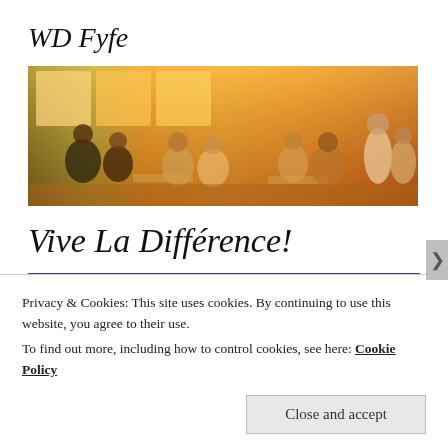WD Fyfe
[Figure (photo): A warm, orange-tinted artistic photo of a busy restaurant/cafe interior with many people seated at tables, a server visible at right, large windows in background.]
Vive La Différence!
[Figure (screenshot): A video player bar — black rectangle, partially visible.]
Privacy & Cookies: This site uses cookies. By continuing to use this website, you agree to their use.
To find out more, including how to control cookies, see here: Cookie Policy
Close and accept